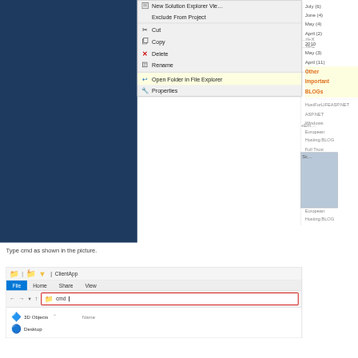[Figure (screenshot): Visual Studio context menu showing options: New Solution Explorer View, Exclude From Project, Cut, Copy, Delete, Rename, Open Folder in File Explorer (highlighted in yellow), Properties. Right side partially shows a blog archive list with months and an orange 'Other Important BLOGs' heading.]
Type cmd as shown in the picture.
[Figure (screenshot): Windows File Explorer window showing ClientApp folder. The address bar contains the text 'cmd' typed in, highlighted with a red border. Below shows navigation tree with '3D Objects' and a 'Desktop' item partially visible. A Name column header is visible.]